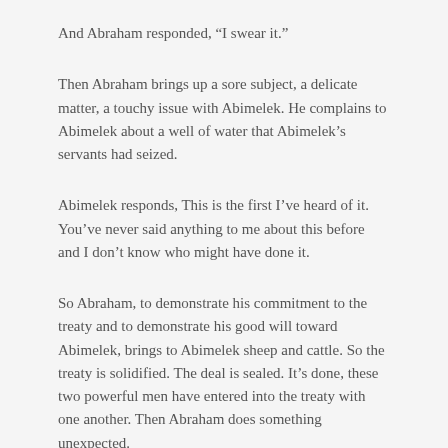And Abraham responded, “I swear it.”
Then Abraham brings up a sore subject, a delicate matter, a touchy issue with Abimelek. He complains to Abimelek about a well of water that Abimelek’s servants had seized.
Abimelek responds, This is the first I’ve heard of it. You’ve never said anything to me about this before and I don’t know who might have done it.
So Abraham, to demonstrate his commitment to the treaty and to demonstrate his good will toward Abimelek, brings to Abimelek sheep and cattle. So the treaty is solidified. The deal is sealed. It’s done, these two powerful men have entered into the treaty with one another. Then Abraham does something unexpected.